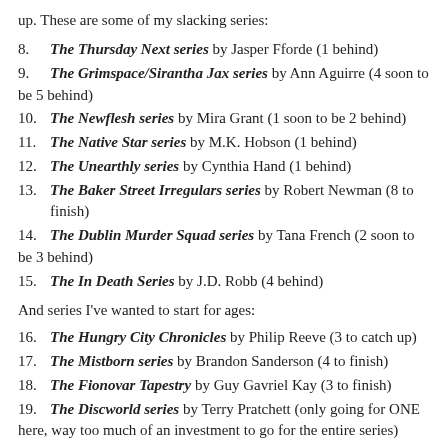up. These are some of my slacking series:
8. The Thursday Next series by Jasper Fforde (1 behind)
9. The Grimspace/Sirantha Jax series by Ann Aguirre (4 soon to be 5 behind)
10. The Newflesh series by Mira Grant (1 soon to be 2 behind)
11. The Native Star series by M.K. Hobson (1 behind)
12. The Unearthly series by Cynthia Hand (1 behind)
13. The Baker Street Irregulars series by Robert Newman (8 to finish)
14. The Dublin Murder Squad series by Tana French (2 soon to be 3 behind)
15. The In Death Series by J.D. Robb (4 behind)
And series I've wanted to start for ages:
16. The Hungry City Chronicles by Philip Reeve (3 to catch up)
17. The Mistborn series by Brandon Sanderson (4 to finish)
18. The Fionovar Tapestry by Guy Gavriel Kay (3 to finish)
19. The Discworld series by Terry Pratchett (only going for ONE here, way too much of an investment to go for the entire series)
20. The Chaos Walking series by Patrick Ness (2 to finish)